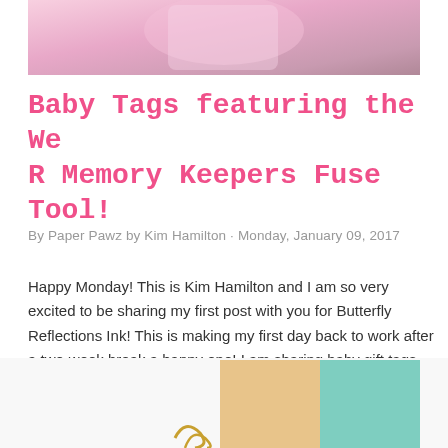[Figure (photo): Top portion of a photo showing a pink baby-themed crafting project with sequins and a cartoon character]
Baby Tags featuring the We R Memory Keepers Fuse Tool!
By Paper Pawz by Kim Hamilton · Monday, January 09, 2017
Happy Monday! This is Kim Hamilton and I am so very excited to be sharing my first post with you for Butterfly Reflections Ink! This is making my first day back to work after a two-week break a happy one! I am sharing baby gift tags today, one of my frien …
SHARE   101 COMMENTS   READ MORE
[Figure (photo): Bottom portion showing colorful craft materials — tan and teal colored papers or cards, with a decorative gold element]